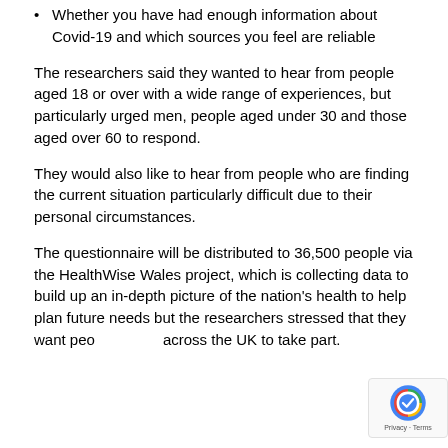Whether you have had enough information about Covid-19 and which sources you feel are reliable
The researchers said they wanted to hear from people aged 18 or over with a wide range of experiences, but particularly urged men, people aged under 30 and those aged over 60 to respond.
They would also like to hear from people who are finding the current situation particularly difficult due to their personal circumstances.
The questionnaire will be distributed to 36,500 people via the HealthWise Wales project, which is collecting data to build up an in-depth picture of the nation's health to help plan future needs but the researchers stressed that they want people across the UK to take part.